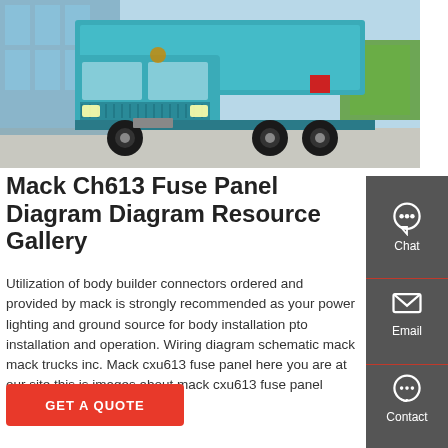[Figure (photo): A teal/turquoise heavy-duty dump truck (Sinotruk/Mack style) photographed in a parking area with a glass building in the background]
Mack Ch613 Fuse Panel Diagram Diagram Resource Gallery
Utilization of body builder connectors ordered and provided by mack is strongly recommended as your power lighting and ground source for body installation pto installation and operation. Wiring diagram schematic mack mack trucks inc. Mack cxu613 fuse panel here you are at our site this is images about mack cxu613 fuse panel posted by brenda
GET A QUOTE